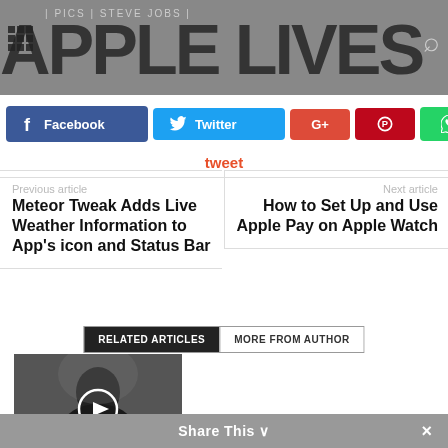APPLE LIVES
[Figure (screenshot): Social share buttons: Facebook, Twitter, Google+, Pinterest, WhatsApp]
tweet
Previous article
Meteor Tweak Adds Live Weather Information to App's icon and Status Bar
Next article
How to Set Up and Use Apple Pay on Apple Watch
[Figure (screenshot): Tabs: RELATED ARTICLES | MORE FROM AUTHOR]
[Figure (photo): Black and white photo of a person with a play button overlay]
Apple Updates the 'Think Different'
Share This